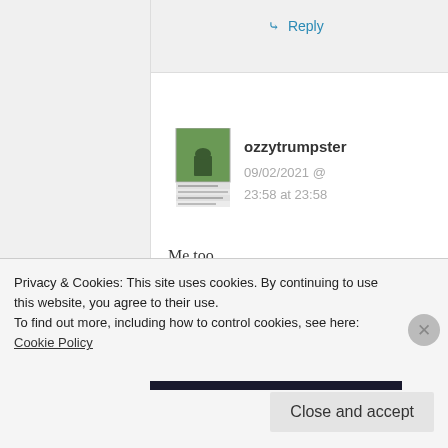↳ Reply
ozzytrumpster
09/02/2021 @ 23:58 at 23:58
Me too.

I get notifications

In a completely good
Privacy & Cookies: This site uses cookies. By continuing to use this website, you agree to their use.
To find out more, including how to control cookies, see here: Cookie Policy
Close and accept